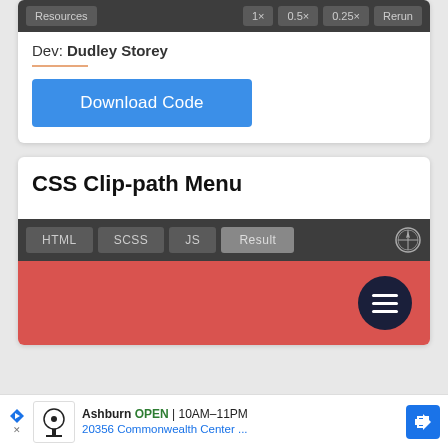[Figure (screenshot): Demo toolbar with Resources, 1x, 0.5x, 0.25x, Rerun buttons on dark background]
Dev: Dudley Storey
[Figure (screenshot): Blue Download Code button]
CSS Clip-path Menu
[Figure (screenshot): CodePen embed with HTML, SCSS, JS, Result tabs on dark bar, preview showing red background with dark navy hamburger menu button]
[Figure (screenshot): Advertisement bar: TopGolf Ashburn OPEN 10AM-11PM, 20356 Commonwealth Center...]